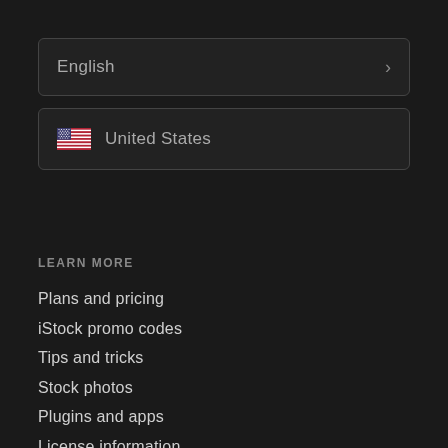English
United States
LEARN MORE
Plans and pricing
iStock promo codes
Tips and tricks
Stock photos
Plugins and apps
License information
Legal / Privacy
VisualGPS Insights